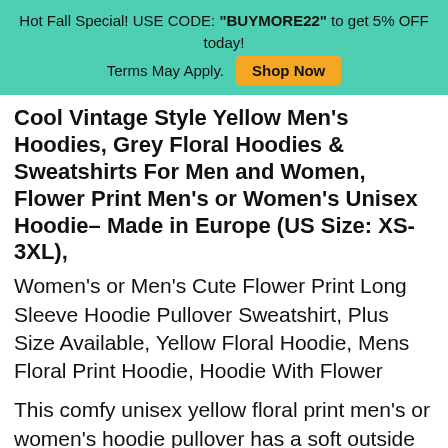Hot Fall Special! USE CODE: "BUYMORE22" to get 5% OFF today! Terms May Apply. Shop Now
Cool Vintage Style Yellow Men's Hoodies, Grey Floral Hoodies & Sweatshirts For Men and Women, Flower Print Men's or Women's Unisex Hoodie– Made in Europe (US Size: XS-3XL),
Women's or Men's Cute Flower Print Long Sleeve Hoodie Pullover Sweatshirt, Plus Size Available, Yellow Floral Hoodie, Mens Floral Print Hoodie, Hoodie With Flower
This comfy unisex yellow floral print men's or women's hoodie pullover has a soft outside with a vibrant print, and an even softer brushed fleece inside. These fun and unique yellow floral printed men's or women's adult size sweatshirts